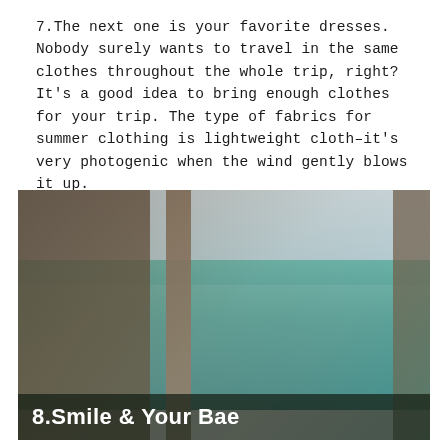7.The next one is your favorite dresses. Nobody surely wants to travel in the same clothes throughout the whole trip, right? It's a good idea to bring enough clothes for your trip. The type of fabrics for summer clothing is lightweight cloth–it's very photogenic when the wind gently blows it up.
[Figure (photo): A couple at a beach pier — a man with sunglasses and a woman smiling, embracing each other near ocean water and wooden pier pillars. Overlay text reads '8.Smile & Your Bae'.]